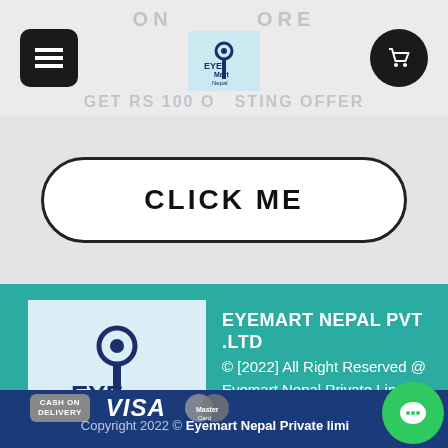[Figure (screenshot): EyeMart Nepal website screenshot showing navigation bar with hamburger menu, EyeMart Nepal logo, and cart button. Promotional text reads ON... ORE and GET RS 100 O... STING OFFER]
CLICK ME
[Figure (logo): EyeMart Nepal logo - eye icon above EYE Mart Nepal text on light blue background]
EYEMART NEPAL PVT .LTD
© [2022] All Right Reserved @ Eyemart Nepal Private Limited
[Figure (infographic): Payment method icons: Cash on Delivery, VISA, MasterCard]
Copyright 2022 © Eyemart Nepal Private limi...